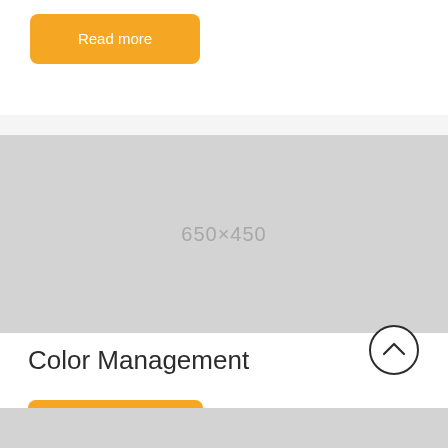Read more
[Figure (other): Gray placeholder image with dimensions label 650×450]
Color Management
Read more
[Figure (other): Back to top arrow button (circle with upward chevron)]
[Figure (other): Partially visible gray section at bottom of page]